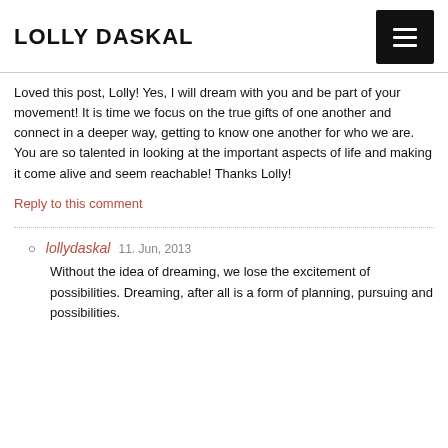LOLLY DASKAL
Loved this post, Lolly! Yes, I will dream with you and be part of your movement! It is time we focus on the true gifts of one another and connect in a deeper way, getting to know one another for who we are. You are so talented in looking at the important aspects of life and making it come alive and seem reachable! Thanks Lolly!
Reply to this comment
lollydaskal  11. Jun, 2013
Without the idea of dreaming, we lose the excitement of possibilities. Dreaming, after all is a form of planning, pursuing and possibilities.